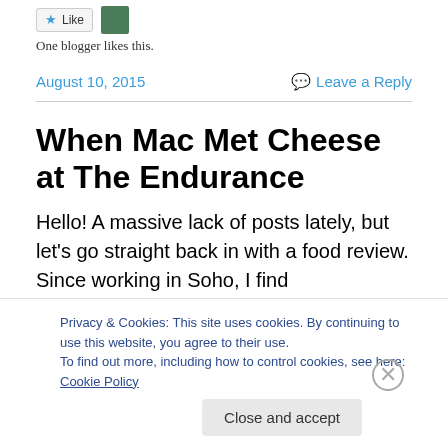[Figure (other): Like button with blue star icon and a small green avatar thumbnail]
One blogger likes this.
August 10, 2015
Leave a Reply
When Mac Met Cheese at The Endurance
Hello! A massive lack of posts lately, but let’s go straight back in with a food review. Since working in Soho, I find
Privacy & Cookies: This site uses cookies. By continuing to use this website, you agree to their use.
To find out more, including how to control cookies, see here: Cookie Policy
Close and accept